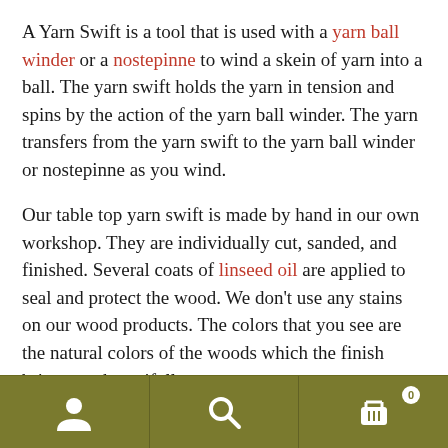A Yarn Swift is a tool that is used with a yarn ball winder or a nostepinne to wind a skein of yarn into a ball. The yarn swift holds the yarn in tension and spins by the action of the yarn ball winder. The yarn transfers from the yarn swift to the yarn ball winder or nostepinne as you wind.
Our table top yarn swift is made by hand in our own workshop. They are individually cut, sanded, and finished. Several coats of linseed oil are applied to seal and protect the wood. We don't use any stains on our wood products. The colors that you see are the natural colors of the woods which the finish brings out beautifully.
Our wood yarn swift can be completely taken apart into 4 working parts and the 6 moveable pegs. This allows for
Navigation bar with user, search, and cart icons